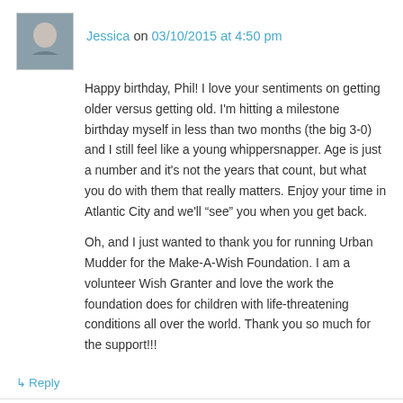Jessica on 03/10/2015 at 4:50 pm
Happy birthday, Phil! I love your sentiments on getting older versus getting old. I'm hitting a milestone birthday myself in less than two months (the big 3-0) and I still feel like a young whippersnapper. Age is just a number and it's not the years that count, but what you do with them that really matters. Enjoy your time in Atlantic City and we'll “see” you when you get back.
Oh, and I just wanted to thank you for running Urban Mudder for the Make-A-Wish Foundation. I am a volunteer Wish Granter and love the work the foundation does for children with life-threatening conditions all over the world. Thank you so much for the support!!!
↳ Reply
filbio310 on 03/20/2015 at 4:32 am
Hey Jessica!